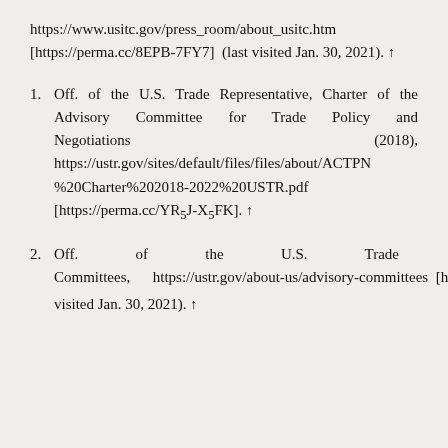https://www.usitc.gov/press_room/about_usitc.htm [https://perma.cc/8EPB-7FY7] (last visited Jan. 30, 2021). ↑
1. Off. of the U.S. Trade Representative, Charter of the Advisory Committee for Trade Policy and Negotiations (2018), https://ustr.gov/sites/default/files/files/about/ACTPN%20Charter%202018-2022%20USTR.pdf [https://perma.cc/YR5J-X5FK]. ↑
2. Off. of the U.S. Trade Representative, Advisory Committees, https://ustr.gov/about-us/advisory-committees [https://perma.cc/24US-G53A] (last visited Jan. 30, 2021). ↑